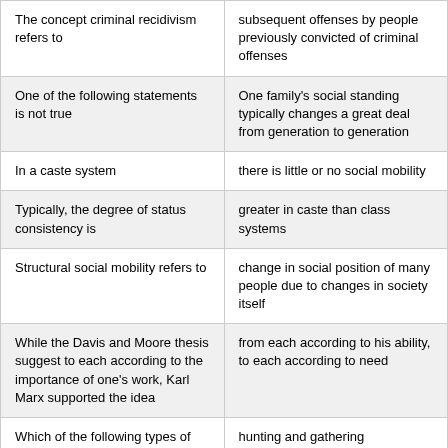| The concept criminal recidivism refers to | subsequent offenses by people previously convicted of criminal offenses |
| One of the following statements is not true | One family's social standing typically changes a great deal from generation to generation |
| In a caste system | there is little or no social mobility |
| Typically, the degree of status consistency is | greater in caste than class systems |
| Structural social mobility refers to | change in social position of many people due to changes in society itself |
| While the Davis and Moore thesis suggest to each according to the importance of one's work, Karl Marx supported the idea | from each according to his ability, to each according to need |
| Which of the following types of societies comes closest to being egalitarian | hunting and gathering |
| Which term refers to wages or |  |